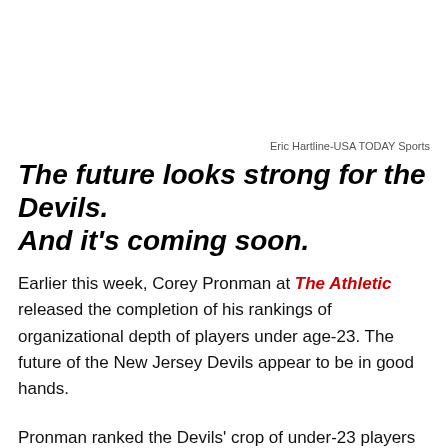Eric Hartline-USA TODAY Sports
The future looks strong for the Devils. And it's coming soon.
Earlier this week, Corey Pronman at The Athletic released the completion of his rankings of organizational depth of players under age-23. The future of the New Jersey Devils appear to be in good hands.
Pronman ranked the Devils' crop of under-23 players as the…